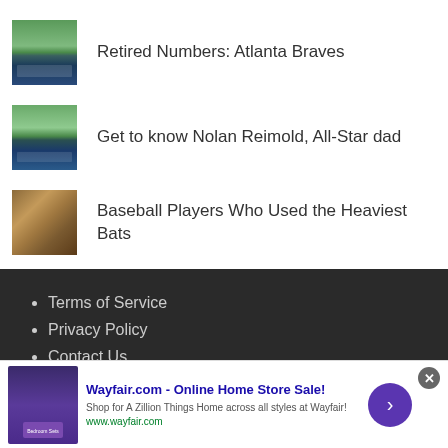Retired Numbers: Atlanta Braves
Get to know Nolan Reimold, All-Star dad
Baseball Players Who Used the Heaviest Bats
Terms of Service
Privacy Policy
Contact Us
About Us
Copyright 2013-2018 Baseball Essential.